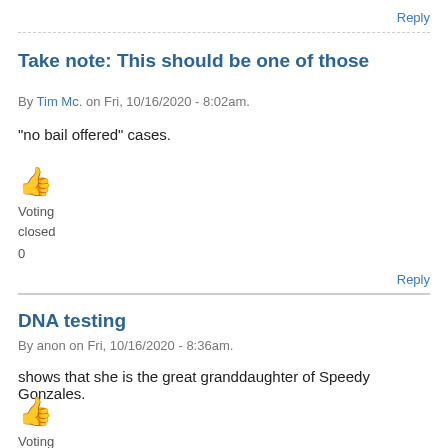Reply
Take note: This should be one of those
By Tim Mc. on Fri, 10/16/2020 - 8:02am.
"no bail offered" cases.
[Figure (illustration): Thumbs up emoji icon in orange/yellow]
Voting
closed
0
Reply
DNA testing
By anon on Fri, 10/16/2020 - 8:36am.
shows that she is the great granddaughter of Speedy Gonzales.
[Figure (illustration): Thumbs up emoji icon in orange/yellow]
Voting